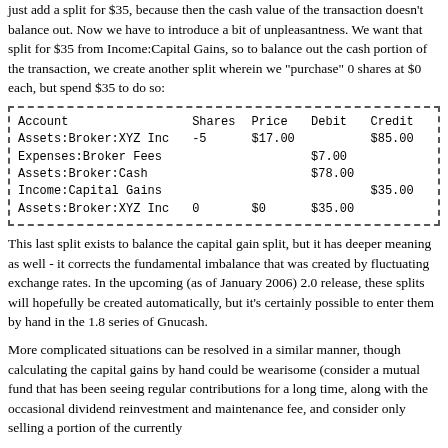just add a split for $35, because then the cash value of the transaction doesn't balance out. Now we have to introduce a bit of unpleasantness. We want that split for $35 from Income:Capital Gains, so to balance out the cash portion of the transaction, we create another split wherein we "purchase" 0 shares at $0 each, but spend $35 to do so:
| Account | Shares | Price | Debit | Credit |
| --- | --- | --- | --- | --- |
| Assets:Broker:XYZ Inc | -5 | $17.00 |  | $85.00 |
| Expenses:Broker Fees |  |  | $7.00 |  |
| Assets:Broker:Cash |  |  | $78.00 |  |
| Income:Capital Gains |  |  |  | $35.00 |
| Assets:Broker:XYZ Inc | 0 | $0 | $35.00 |  |
This last split exists to balance the capital gain split, but it has deeper meaning as well - it corrects the fundamental imbalance that was created by fluctuating exchange rates. In the upcoming (as of January 2006) 2.0 release, these splits will hopefully be created automatically, but it's certainly possible to enter them by hand in the 1.8 series of Gnucash.
More complicated situations can be resolved in a similar manner, though calculating the capital gains by hand could be wearisome (consider a mutual fund that has been seeing regular contributions for a long time, along with the occasional dividend reinvestment and maintenance fee, and consider only selling a portion of the currently